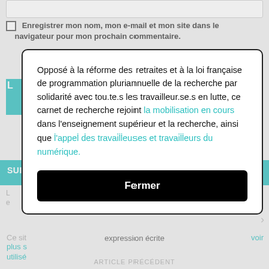Enregistrer mon nom, mon e-mail et mon site dans le navigateur pour mon prochain commentaire.
Opposé à la réforme des retraites et à la loi française de programmation pluriannuelle de la recherche par solidarité avec tou.te.s les travailleur.se.s en lutte, ce carnet de recherche rejoint la mobilisation en cours dans l'enseignement supérieur et la recherche, ainsi que l'appel des travailleuses et travailleurs du numérique.
Fermer
expression écrite
ARTICLE PRÉCÉDENT